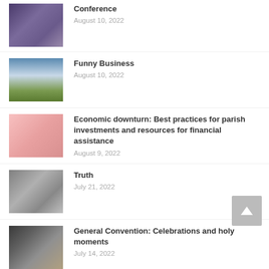[Figure (photo): Group photo of many people, conference attendees]
Conference
August 10, 2022
[Figure (photo): Wind turbine in a green field under a blue sky with clouds]
Funny Business
August 10, 2022
[Figure (photo): Hand putting a coin into a pink piggy bank]
Economic downturn: Best practices for parish investments and resources for financial assistance
August 9, 2022
[Figure (photo): Silver statue of Lady Justice holding scales]
Truth
July 21, 2022
[Figure (photo): Large convention hall interior with lights and people]
General Convention: Celebrations and holy moments
July 14, 2022
[Figure (photo): Partial image at bottom of page]